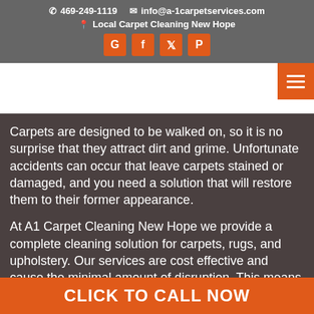469-249-1119  info@a-1carpetservices.com  Local Carpet Cleaning New Hope
[Figure (infographic): Social media icon buttons for Google, Facebook, Twitter, Pinterest in orange squares]
[Figure (infographic): Navigation bar with hamburger menu button in orange]
Carpets are designed to be walked on, so it is no surprise that they attract dirt and grime. Unfortunate accidents can occur that leave carpets stained or damaged, and you need a solution that will restore them to their former appearance.
At A1 Carpet Cleaning New Hope we provide a complete cleaning solution for carpets, rugs, and upholstery. Our services are cost effective and cause the minimal amount of disruption. This means your carpets and furniture can
CLICK TO CALL NOW